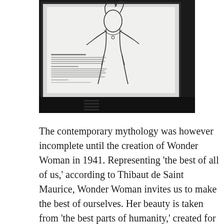[Figure (photo): A framed black-and-white artwork or sketch displayed on a dark surface, showing a figure (likely Wonder Woman) with handwritten or typed text below the illustration inside the frame.]
The contemporary mythology was however incomplete until the creation of Wonder Woman in 1941. Representing ‘the best of all of us,’ according to Thibaut de Saint Maurice, Wonder Woman invites us to make the best of ourselves. Her beauty is taken from ‘the best parts of humanity,’ created for good and not to destroy. For Saint Maurice, it is both essential